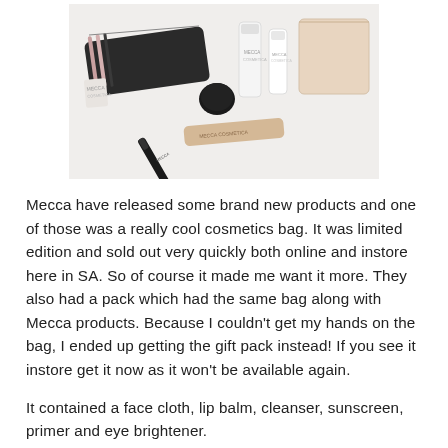[Figure (photo): Flatlay photo of Mecca cosmetics products including a striped makeup bag, several small product tubes and containers, an eyeliner pencil, a concealer tube, and a small pouch, arranged on a white fluffy surface.]
Mecca have released some brand new products and one of those was a really cool cosmetics bag. It was limited edition and sold out very quickly both online and instore here in SA. So of course it made me want it more. They also had a pack which had the same bag along with Mecca products. Because I couldn't get my hands on the bag, I ended up getting the gift pack instead! If you see it instore get it now as it won't be available again.
It contained a face cloth, lip balm, cleanser, sunscreen, primer and eye brightener.